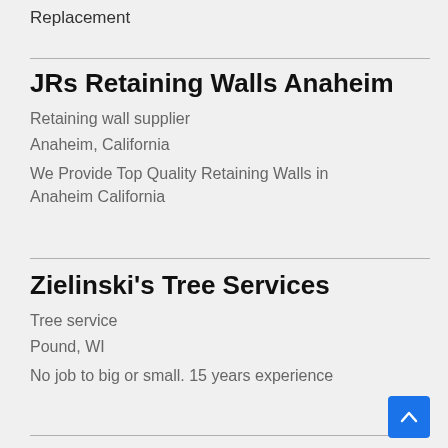Replacement
JRs Retaining Walls Anaheim
Retaining wall supplier
Anaheim, California
We Provide Top Quality Retaining Walls in Anaheim California
Zielinski's Tree Services
Tree service
Pound, WI
No job to big or small. 15 years experience